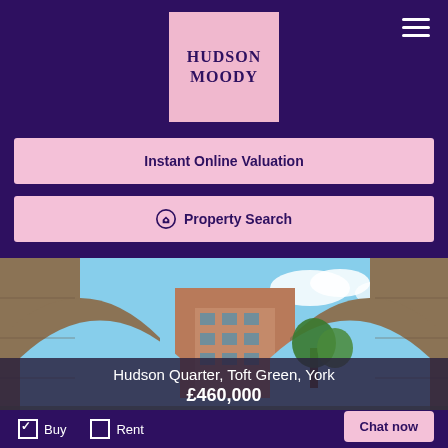[Figure (logo): Hudson Moody logo — pink square with serif text HUDSON MOODY in dark purple]
Instant Online Valuation
Property Search
[Figure (photo): View through a stone arch of Hudson Quarter development building in York with blue sky and trees]
Hudson Quarter, Toft Green, York
£460,000
Buy
Rent
Chat now